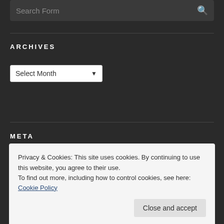[Figure (screenshot): Search form input bar with placeholder text 'Search Form' and a search icon on the right, on a dark background]
ARCHIVES
[Figure (screenshot): Dropdown selector labeled 'Select Month' with a down arrow, on a dark background]
META
» Log in
Privacy & Cookies: This site uses cookies. By continuing to use this website, you agree to their use.
To find out more, including how to control cookies, see here: Cookie Policy
Close and accept